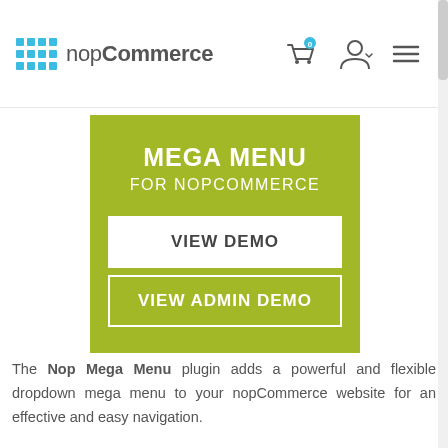[Figure (logo): nopCommerce logo with blue grid dots and text]
[Figure (infographic): Olive/yellow-green promo box with MEGA MENU FOR NOPCOMMERCE heading and two buttons: VIEW DEMO and VIEW ADMIN DEMO]
The Nop Mega Menu plugin adds a powerful and flexible dropdown mega menu to your nopCommerce website for an effective and easy navigation.